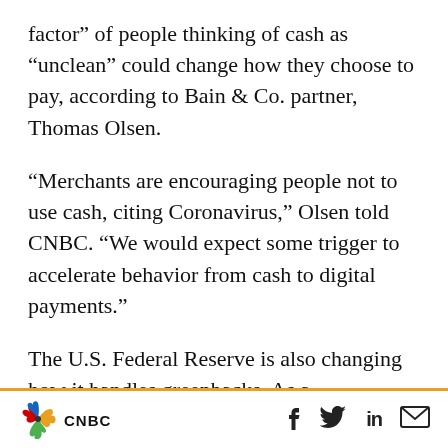factor” of people thinking of cash as “unclean” could change how they choose to pay, according to Bain & Co. partner, Thomas Olsen.
“Merchants are encouraging people not to use cash, citing Coronavirus,” Olsen told CNBC. “We would expect some trigger to accelerate behavior from cash to digital payments.”
The U.S. Federal Reserve is also changing how it handles greenbacks. As a “precautionary measure,” the Fed increased the minimum holding period for bills coming from Asia and Europe to the U.S. to a 10-day minimum. The
CNBC [logo] f [twitter] in [mail]